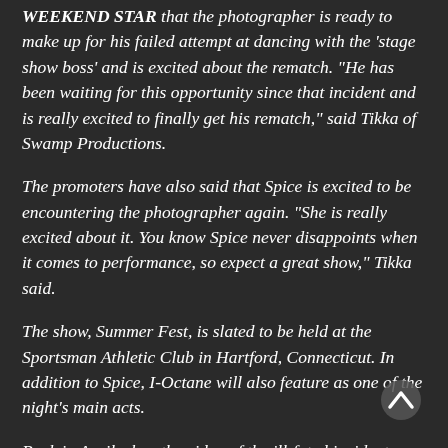WEEKEND STAR that the photographer is ready to make up for his failed attempt at dancing with the 'stage show boss' and is excited about the rematch. "He has been waiting for this opportunity since that incident and is really excited to finally get his rematch," said Tikka of Swamp Productions.
The promoters have also said that Spice is excited to be encountering the photographer again. "She is really excited about it. You know Spice never disappoints when it comes to performance, so expect a great show," Tikka said.
The show, Summer Fest, is slated to be held at the Sportsman Athletic Club in Hartford, Connecticut. In addition to Spice, I-Octane will also feature as one of the night's main acts.
Back in April when the video of the ill-fated incident went viral, there were many social media comments